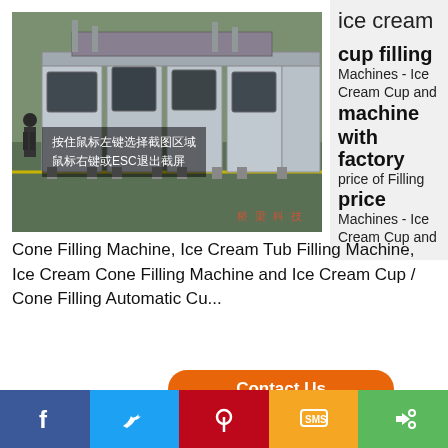[Figure (photo): Industrial ice cream cup filling machine in a factory setting, multiple stainless steel filling stations visible, Chinese text overlay indicating fullscreen zoom interaction instructions]
cup filling machine with factory price
ice cream
cup filling Machines - Ice Cream Cup and with factory price of Filling Machines - Ice Cream Cup and Cone Filling Machine, Ice Cream Tub Filling Machine, Ice Cream Cone Filling Machine and Ice Cream Cup / Cone Filling Automatic Cu...
Contact Us
Send Inquir...